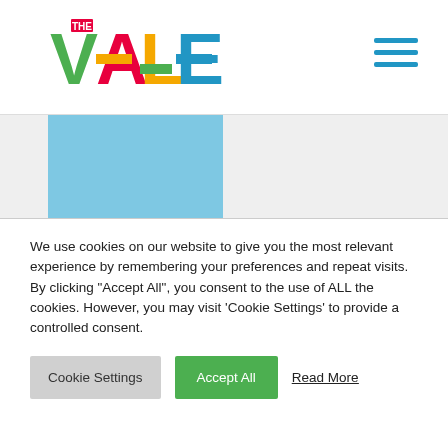THE VALE — navigation bar with logo and hamburger menu
[Figure (logo): The Vale colorful logo with letters V (green), A (pink/red), L (yellow/orange), E (teal/blue) and small 'THE' above]
[Figure (illustration): Light blue rectangle partial image]
[Figure (illustration): Orange rectangle with blue ticket icon]
vale, ale and a garden trail
THE VALE
10:00 AM - 6:00 PM
We use cookies on our website to give you the most relevant experience by remembering your preferences and repeat visits. By clicking "Accept All", you consent to the use of ALL the cookies. However, you may visit 'Cookie Settings' to provide a controlled consent.